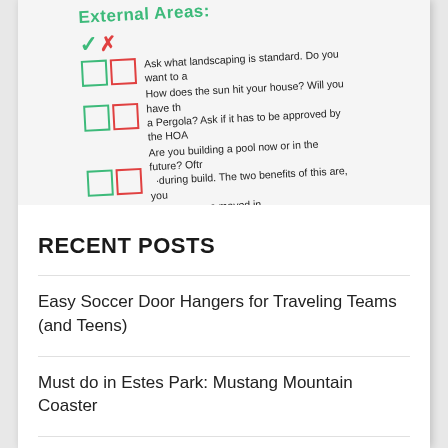[Figure (illustration): Rotated checklist section showing 'External Areas:' header in green, a green checkmark and red X icon, three rows of checkbox pairs (green and red outlined boxes), and partially visible checklist items about landscaping, sun direction/pergola, and pool building.]
RECENT POSTS
Easy Soccer Door Hangers for Traveling Teams (and Teens)
Must do in Estes Park: Mustang Mountain Coaster
(partially visible third post title)